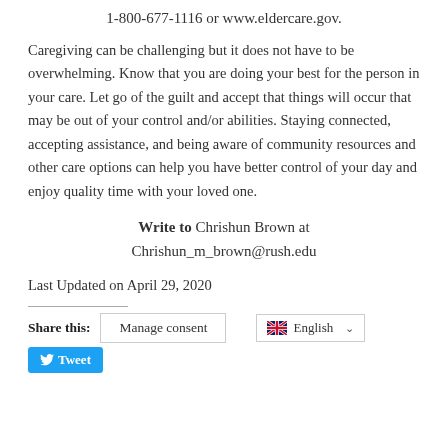1-800-677-1116 or www.eldercare.gov.
Caregiving can be challenging but it does not have to be overwhelming. Know that you are doing your best for the person in your care. Let go of the guilt and accept that things will occur that may be out of your control and/or abilities. Staying connected, accepting assistance, and being aware of community resources and other care options can help you have better control of your day and enjoy quality time with your loved one.
Write to Chrishun Brown at Chrishun_m_brown@rush.edu
Last Updated on April 29, 2020
Share this:
Manage consent
English